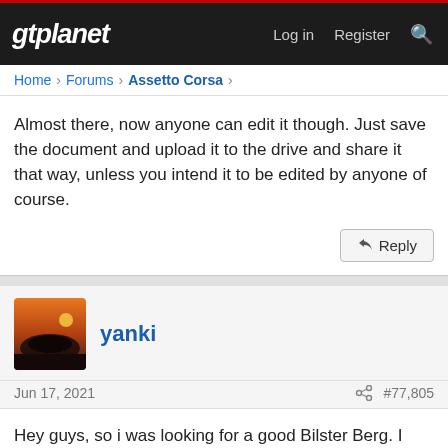gtplanet — Log in  Register
Home > Forums > Assetto Corsa >
Almost there, now anyone can edit it though. Just save the document and upload it to the drive and share it that way, unless you intend it to be edited by anyone of course.
Reply
yanki
Jun 17, 2021  #77,805
Hey guys, so i was looking for a good Bilster Berg. I was aware that there was a Fat Alfie version but it was private or something (may...